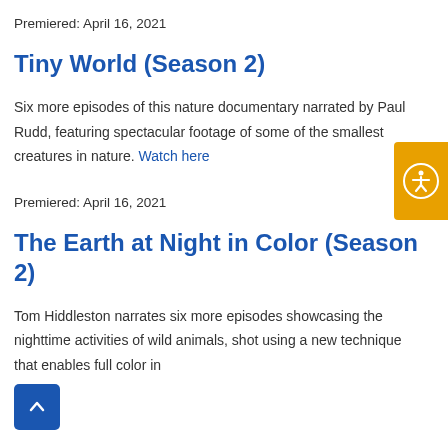Premiered: April 16, 2021
Tiny World (Season 2)
Six more episodes of this nature documentary narrated by Paul Rudd, featuring spectacular footage of some of the smallest creatures in nature. Watch here
Premiered: April 16, 2021
The Earth at Night in Color (Season 2)
Tom Hiddleston narrates six more episodes showcasing the nighttime activities of wild animals, shot using a new technique that enables full color in
[Figure (other): Orange accessibility button with person icon on the right side]
[Figure (other): Blue back-to-top button with upward chevron arrow]